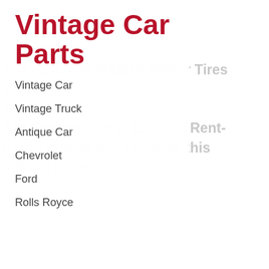Vintage Car Parts
Vintage Car
Vintage Truck
Antique Car
Chevrolet
Ford
Rolls Royce
Mercedes Benz 18 Inch Rims C-class W206 S206 Winter Tires Winter Wheels New